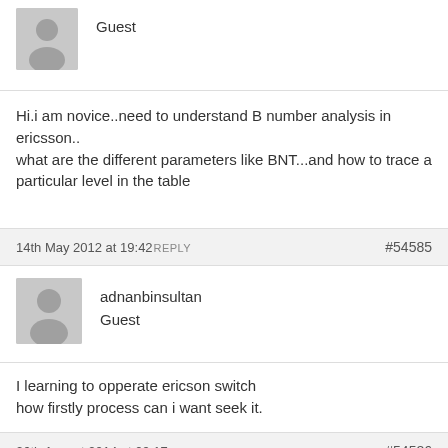[Figure (illustration): Gray avatar placeholder icon for Guest user at top]
Guest
Hi.i am novice..need to understand B number analysis in ericsson..
what are the different parameters like BNT...and how to trace a particular level in the table
14th May 2012 at 19:42 REPLY   #54585
[Figure (illustration): Gray avatar placeholder icon for adnanbinsultan user]
adnanbinsultan
Guest
I learning to opperate ericson switch
how firstly process can i want seek it.
26th August 2014 at 09:17 REPLY   #54586
[Figure (illustration): Gray avatar placeholder icon for somasekhar user]
somasekhar
Guest